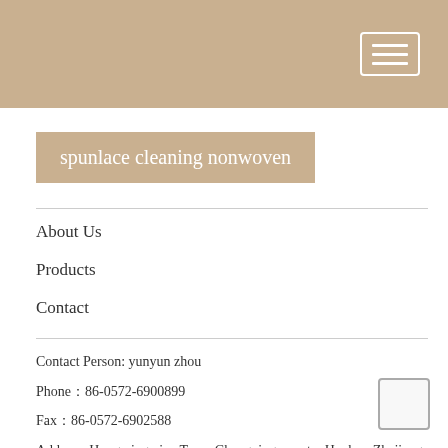spunlace cleaning nonwoven
About Us
Products
Contact
Contact Person: yunyun zhou
Phone：86-0572-6900899
Fax：86-0572-6902588
Address: Hong xing qiao Town Changxing county ,Huzhou,Zhejiang